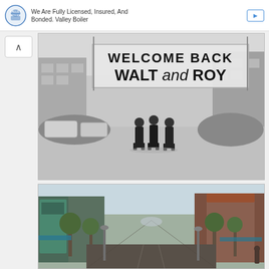We Are Fully Licensed, Insured, And Bonded. Valley Boiler
[Figure (photo): Black and white historical street photo with a large banner reading 'WELCOME BACK WALT and ROY'. Three men stand in the middle of a street with crowds of people on the sides and city buildings in the background.]
[Figure (photo): Color photo of a wide empty street with shops and trees on both sides, appearing to be Main Street USA at Disneyland.]